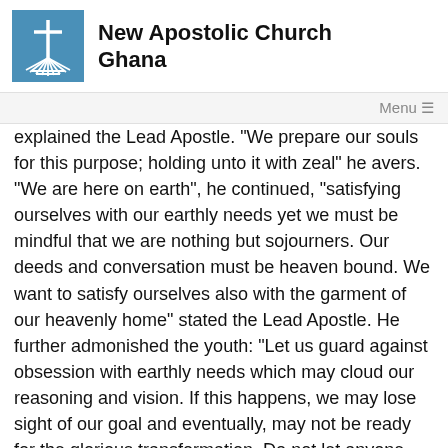New Apostolic Church Ghana
Menu ≡
explained the Lead Apostle. "We prepare our souls for this purpose; holding unto it with zeal" he avers. "We are here on earth", he continued, "satisfying ourselves with our earthly needs yet we must be mindful that we are nothing but sojourners. Our deeds and conversation must be heaven bound. We want to satisfy ourselves also with the garment of our heavenly home" stated the Lead Apostle. He further admonished the youth: "Let us guard against obsession with earthly needs which may cloud our reasoning and vision. If this happens, we may lose sight of our goal and eventually, may not be ready for the glorious transformation. Do not let anyone deceive you with juicy transitory packages."
Transformation of the ...